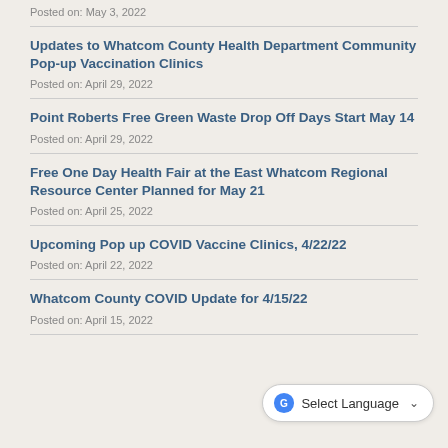Posted on: May 3, 2022
Updates to Whatcom County Health Department Community Pop-up Vaccination Clinics
Posted on: April 29, 2022
Point Roberts Free Green Waste Drop Off Days Start May 14
Posted on: April 29, 2022
Free One Day Health Fair at the East Whatcom Regional Resource Center Planned for May 21
Posted on: April 25, 2022
Upcoming Pop up COVID Vaccine Clinics, 4/22/22
Posted on: April 22, 2022
Whatcom County COVID Update for 4/15/22
Posted on: April 15, 2022